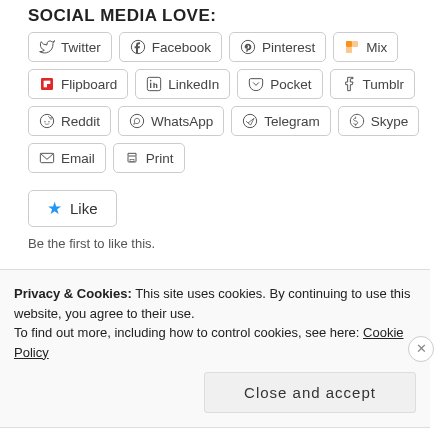SOCIAL MEDIA LOVE:
Twitter, Facebook, Pinterest, Mix, Flipboard, LinkedIn, Pocket, Tumblr, Reddit, WhatsApp, Telegram, Skype, Email, Print
[Figure (other): Like button widget with star icon]
Be the first to like this.
Privacy & Cookies: This site uses cookies. By continuing to use this website, you agree to their use.
To find out more, including how to control cookies, see here: Cookie Policy
Close and accept